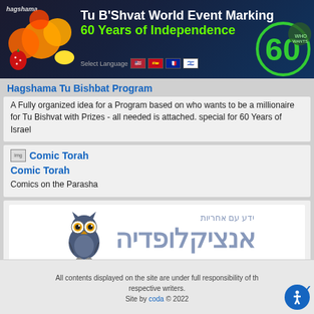[Figure (screenshot): Hagshama Tu B'Shvat World Event banner marking 60 Years of Independence with fruits, flags, and a 60 logo on dark background]
Hagshama Tu Bishbat Program
A Fully organized idea for a Program based on who wants to be a millionaire for Tu Bishvat with Prizes - all needed is attached. special for 60 Years of Israel
[Figure (screenshot): Comic Torah thumbnail image]
Comic Torah
Comics on the Parasha
[Figure (logo): Ynet Encyclopedia logo with owl and Hebrew text: אנציקלופדיה - ידע עם אחריות]
Ynet- Encyclopedia
60 question & 60 answers about Israel
All contents displayed on the site are under full responsibility of the respective writers.
Site by coda © 2022